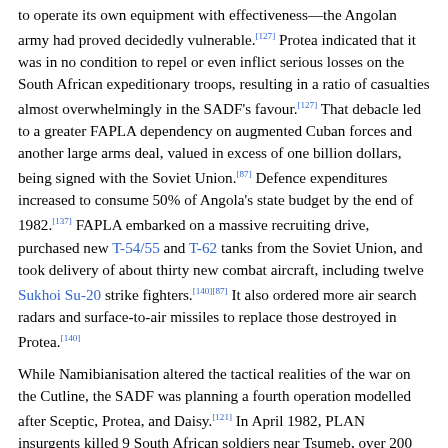to operate its own equipment with effectiveness—the Angolan army had proved decidedly vulnerable.[127] Protea indicated that it was in no condition to repel or even inflict serious losses on the South African expeditionary troops, resulting in a ratio of casualties almost overwhelmingly in the SADF's favour.[127] That debacle led to a greater FAPLA dependency on augmented Cuban forces and another large arms deal, valued in excess of one billion dollars, being signed with the Soviet Union.[87] Defence expenditures increased to consume 50% of Angola's state budget by the end of 1982.[137] FAPLA embarked on a massive recruiting drive, purchased new T-54/55 and T-62 tanks from the Soviet Union, and took delivery of about thirty new combat aircraft, including twelve Sukhoi Su-20 strike fighters.[140][87] It also ordered more air search radars and surface-to-air missiles to replace those destroyed in Protea.[140]
While Namibianisation altered the tactical realities of the war on the Cutline, the SADF was planning a fourth operation modelled after Sceptic, Protea, and Daisy.[121] In April 1982, PLAN insurgents killed 9 South African soldiers near Tsumeb, over 200 kilometres south of the border.[125][65] South Africa claimed 152 security-related incidents involving PLAN occurred in South West Africa that year, and acknowledged the combat deaths of 77 SADF